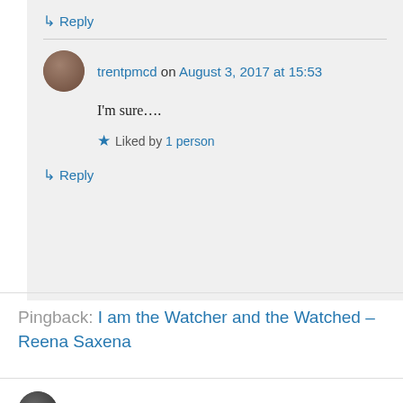↳ Reply
trentpmcd on August 3, 2017 at 15:53
I'm sure….
★ Liked by 1 person
↳ Reply
Pingback: I am the Watcher and the Watched – Reena Saxena
Reena Saxena on August 3, 2017 at 13:50
https://reinventionsreena.wordpress.com/2017/08/03/i-am-the-watcher-and-the-watched/